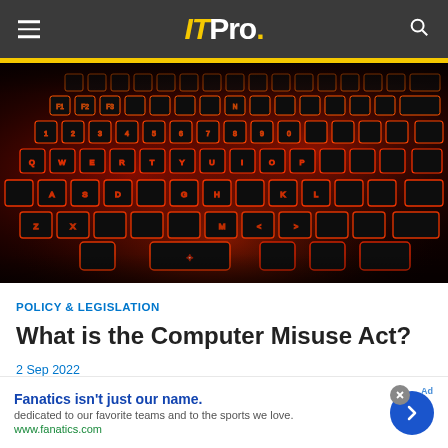IT Pro.
[Figure (photo): Close-up photograph of a red-backlit gaming keyboard with black keys in a dark setting]
POLICY & LEGISLATION
What is the Computer Misuse Act?
2 Sep 2022
Fanatics isn't just our name. dedicated to our favorite teams and to the sports we love. www.fanatics.com